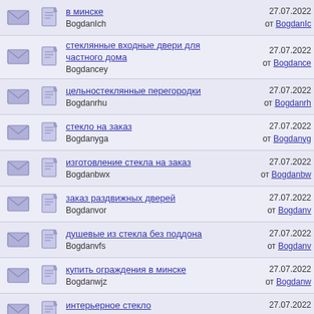в минске | BogdanIch | 27.07.2022 от BogdanIch
стеклянные входные двери для частного дома | Bogdancey | 27.07.2022 от Bogdance
цельностеклянные перегородки | Bogdanrhu | 27.07.2022 от Bogdanrh
стекло на заказ | Bogdanyga | 27.07.2022 от Bogdanyg
изготовление стекла на заказ | Bogdanbwx | 27.07.2022 от Bogdanb
заказ раздвижных дверей | Bogdanvor | 27.07.2022 от Bogdanv
душевые из стекла без поддона | Bogdanvfs | 27.07.2022 от Bogdanv
купить ограждения в минске | Bogdanwjz | 27.07.2022 от Bogdanw
интерьерное стекло | Bogdanpae | 27.07.2022 от Bogdanpa
двери в парилку стеклянные в минске | Bogdanfuv | 27.07.2022 от Bogdanfu
стеклянные стены | 27.07.2022